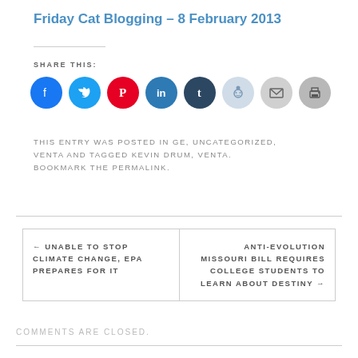Friday Cat Blogging – 8 February 2013
SHARE THIS:
[Figure (infographic): Row of social media sharing icons: Facebook (blue), Twitter (light blue), Pinterest (red), LinkedIn (teal-blue), Tumblr (dark navy), Reddit (light blue-grey), Email (grey), Print (grey)]
THIS ENTRY WAS POSTED IN GE, UNCATEGORIZED, VENTA AND TAGGED KEVIN DRUM, VENTA. BOOKMARK THE PERMALINK.
← UNABLE TO STOP CLIMATE CHANGE, EPA PREPARES FOR IT
ANTI-EVOLUTION MISSOURI BILL REQUIRES COLLEGE STUDENTS TO LEARN ABOUT DESTINY →
COMMENTS ARE CLOSED.